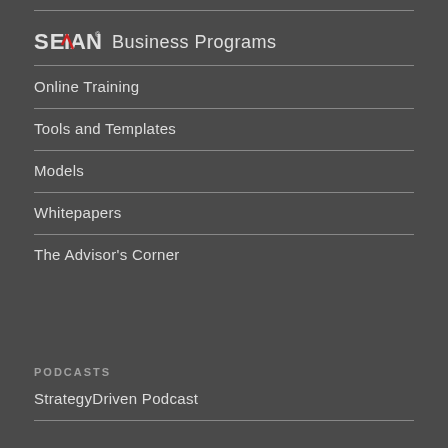[Figure (logo): Sevian logo with checkmark and text 'Business Programs']
Online Training
Tools and Templates
Models
Whitepapers
The Advisor's Corner
PODCASTS
StrategyDriven Podcast